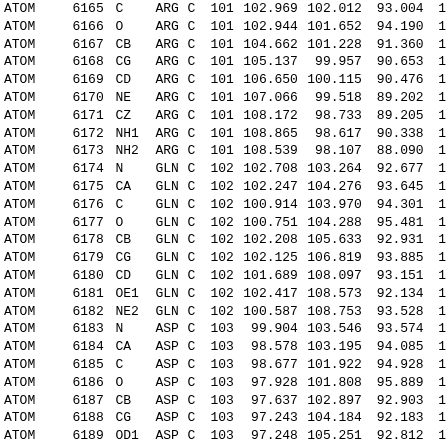| type | serial | name | res | chain | resSeq | x | y | z | ... |
| --- | --- | --- | --- | --- | --- | --- | --- | --- | --- |
| ATOM | 6165 | C | ARG | C | 101 | 102.969 | 102.012 | 93.004 | 1 |
| ATOM | 6166 | O | ARG | C | 101 | 102.944 | 101.652 | 94.190 | 1 |
| ATOM | 6167 | CB | ARG | C | 101 | 104.662 | 101.228 | 91.360 | 1 |
| ATOM | 6168 | CG | ARG | C | 101 | 105.137 | 99.957 | 90.653 | 1 |
| ATOM | 6169 | CD | ARG | C | 101 | 106.650 | 100.115 | 90.476 | 1 |
| ATOM | 6170 | NE | ARG | C | 101 | 107.066 | 99.518 | 89.202 | 1 |
| ATOM | 6171 | CZ | ARG | C | 101 | 108.172 | 98.733 | 89.205 | 1 |
| ATOM | 6172 | NH1 | ARG | C | 101 | 108.865 | 98.617 | 90.338 | 1 |
| ATOM | 6173 | NH2 | ARG | C | 101 | 108.539 | 98.107 | 88.090 | 1 |
| ATOM | 6174 | N | GLN | C | 102 | 102.708 | 103.264 | 92.677 | 1 |
| ATOM | 6175 | CA | GLN | C | 102 | 102.247 | 104.276 | 93.645 | 1 |
| ATOM | 6176 | C | GLN | C | 102 | 100.914 | 103.970 | 94.301 | 1 |
| ATOM | 6177 | O | GLN | C | 102 | 100.751 | 104.288 | 95.481 | 1 |
| ATOM | 6178 | CB | GLN | C | 102 | 102.208 | 105.633 | 92.931 | 1 |
| ATOM | 6179 | CG | GLN | C | 102 | 102.125 | 106.819 | 93.885 | 1 |
| ATOM | 6180 | CD | GLN | C | 102 | 101.689 | 108.097 | 93.151 | 1 |
| ATOM | 6181 | OE1 | GLN | C | 102 | 102.417 | 108.573 | 92.134 | 1 |
| ATOM | 6182 | NE2 | GLN | C | 102 | 100.587 | 108.753 | 93.528 | 1 |
| ATOM | 6183 | N | ASP | C | 103 | 99.904 | 103.546 | 93.574 | 1 |
| ATOM | 6184 | CA | ASP | C | 103 | 98.578 | 103.195 | 94.085 | 1 |
| ATOM | 6185 | C | ASP | C | 103 | 98.677 | 101.922 | 94.928 | 1 |
| ATOM | 6186 | O | ASP | C | 103 | 97.928 | 101.808 | 95.889 | 1 |
| ATOM | 6187 | CB | ASP | C | 103 | 97.637 | 102.897 | 92.903 | 1 |
| ATOM | 6188 | CG | ASP | C | 103 | 97.243 | 104.184 | 92.183 | 1 |
| ATOM | 6189 | OD1 | ASP | C | 103 | 97.248 | 105.251 | 92.812 | 1 |
| ATOM | 6190 | OD2 | ASP | C | 103 | 96.920 | 104.160 | 90.991 | 1 |
| ATOM | 6191 | N | PHE | C | 104 | 99.532 | 101.006 | 94.570 | 1 |
| ATOM | 6192 | CA | PHE | C | 104 | 99.789 | 99.765 | 95.341 | 1 |
| ATOM | 6193 | C | PHE | C | 104 | 100.355 | 100.165 | 96.709 | 1 |
| ATOM | 6194 | O | PHE | C | 104 | 99.968 | 99.678 | 97.768 | 1 |